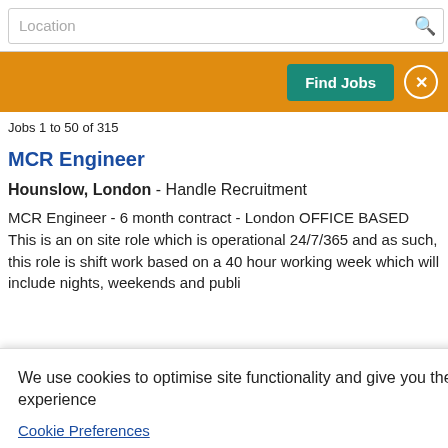Location
Find Jobs
Jobs 1 to 50 of 315
MCR Engineer
Hounslow, London - Handle Recruitment
MCR Engineer - 6 month contract - London OFFICE BASED This is an on site role which is operational 24/7/365 and as such, this role is shift work based on a 40 hour working week which will include nights, weekends and public holidays.
We use cookies to optimise site functionality and give you the best possible experience
Cookie Preferences
Accept
Limited